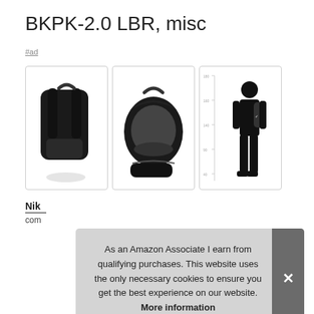BKPK-2.0 LBR, misc
#ad
[Figure (photo): Three product photos of a Nike backpack: left shows back view of black backpack, center shows open front view of black backpack, right shows a silhouette of a person wearing the backpack with a height scale.]
Nike
com
As an Amazon Associate I earn from qualifying purchases. This website uses the only necessary cookies to ensure you get the best experience on our website. More information